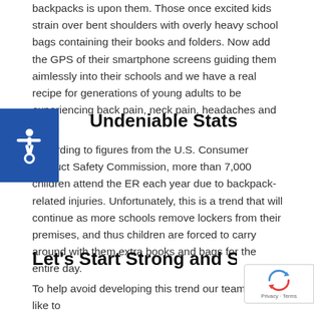backpacks is upon them. Those once excited kids strain over bent shoulders with overly heavy school bags containing their books and folders. Now add the GPS of their smartphone screens guiding them aimlessly into their schools and we have a real recipe for generations of young adults to be experiencing back pain, neck pain, headaches and more.
Undeniable Stats
According to figures from the U.S. Consumer Product Safety Commission, more than 7,000 children attend the ER each year due to backpack-related injuries. Unfortunately, this is a trend that will continue as more schools remove lockers from their premises, and thus children are forced to carry around with them extra books and bags for the entire day.
Let's Start Strong and Stay Strong
To help avoid developing this trend our team would like to